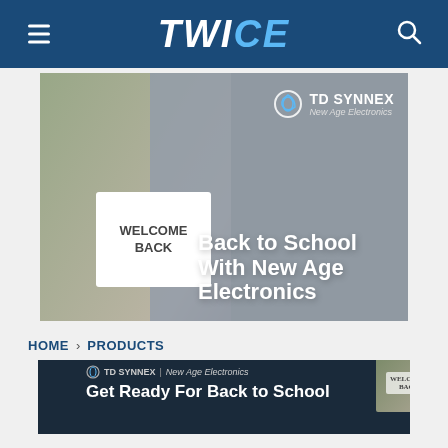TWICE — navigation header with hamburger menu and search icon
[Figure (photo): Back to School With New Age Electronics advertisement featuring a woman holding a 'Welcome Back' sign, with TD SYNNEX | New Age Electronics branding and large white text overlay reading 'Back to School With New Age Electronics']
HOME › PRODUCTS
[Figure (photo): TD SYNNEX | New Age Electronics banner advertisement reading 'Get Ready For Back to School' with image of woman holding Welcome Back sign]